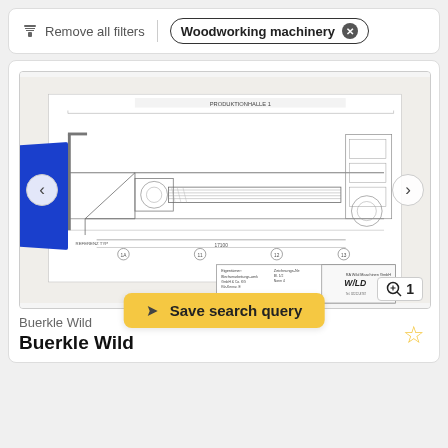Remove all filters
Woodworking machinery ×
[Figure (engineering-diagram): Technical schematic drawing of woodworking machinery (Buerkle Wild) showing plan/elevation views with dimensions, part labels, section markers, and a title block with W/LD Wild Maschinen GmbH branding. A blue redaction block covers part of the lower left.]
⊕ 1
Save search query
Buerkle Wild
Buerkle Wild